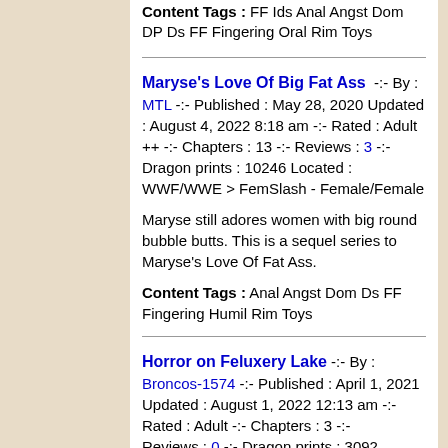Content Tags : FF Ids Anal Angst Dom DP Ds FF Fingering Oral Rim Toys
Maryse's Love Of Big Fat Ass -:- By : MTL -:- Published : May 28, 2020 Updated : August 4, 2022 8:18 am -:- Rated : Adult ++ -:- Chapters : 13 -:- Reviews : 3 -:- Dragon prints : 10246 Located : WWF/WWE > FemSlash - Female/Female
Maryse still adores women with big round bubble butts. This is a sequel series to Maryse's Love Of Fat Ass.
Content Tags : Anal Angst Dom Ds FF Fingering Humil Rim Toys
Horror on Feluxery Lake -:- By : Broncos-1574 -:- Published : April 1, 2021 Updated : August 1, 2022 12:13 am -:- Rated : Adult -:- Chapters : 3 -:- Reviews : 0 -:- Dragon prints : 3092